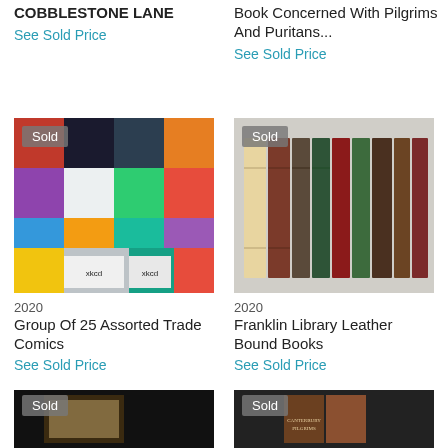COBBLESTONE LANE
See Sold Price
Book Concerned With Pilgrims And Puritans...
See Sold Price
[Figure (photo): Collage of 25 assorted trade comics books with 'Sold' badge]
2020
Group Of 25 Assorted Trade Comics
See Sold Price
[Figure (photo): Franklin Library leather bound books standing upright with 'Sold' badge]
2020
Franklin Library Leather Bound Books
See Sold Price
[Figure (photo): Dark book with artistic cover, 'Sold' badge, partially visible at bottom]
[Figure (photo): Canterbury Pilgrims book, 'Sold' badge, partially visible at bottom]